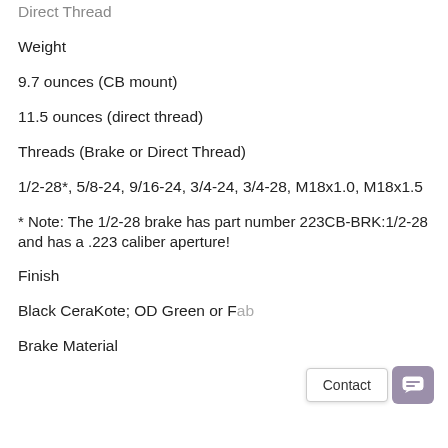Direct Thread
Weight
9.7 ounces (CB mount)
11.5 ounces (direct thread)
Threads (Brake or Direct Thread)
1/2-28*, 5/8-24, 9/16-24, 3/4-24, 3/4-28, M18x1.0, M18x1.5
* Note: The 1/2-28 brake has part number 223CB-BRK:1/2-28 and has a .223 caliber aperture!
Finish
Black CeraKote; OD Green or F[…]ab
Brake Material